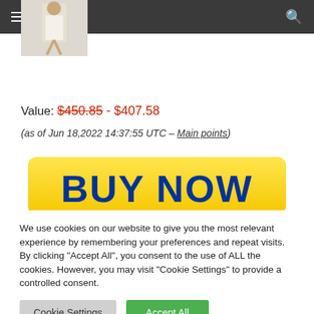Navigation bar with hamburger menu and search icon
[Figure (photo): Partial product thumbnail showing a person in light-colored clothing]
Value: $450.85 - $407.58
(as of Jun 18,2022 14:37:55 UTC – Main points)
[Figure (other): BUY NOW yellow button with dark blue bold text]
We use cookies on our website to give you the most relevant experience by remembering your preferences and repeat visits. By clicking "Accept All", you consent to the use of ALL the cookies. However, you may visit "Cookie Settings" to provide a controlled consent.
Cookie Settings   Accept All